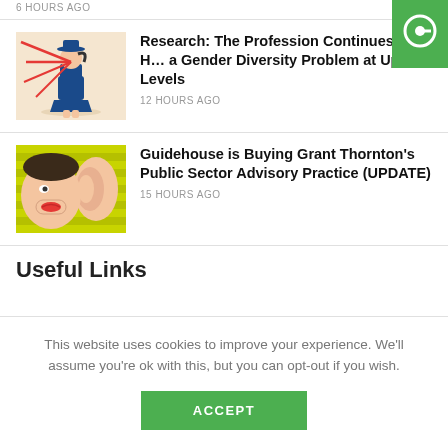6 HOURS AGO
[Figure (illustration): Illustration of a woman in blue outfit with red lines radiating outward, on a beige background]
Research: The Profession Continues to Have a Gender Diversity Problem at Upper Levels
12 HOURS AGO
[Figure (illustration): Pop-art style illustration of a woman whispering into a large ear, with striped green-yellow background]
Guidehouse is Buying Grant Thornton's Public Sector Advisory Practice (UPDATE)
15 HOURS AGO
Useful Links
This website uses cookies to improve your experience. We'll assume you're ok with this, but you can opt-out if you wish.
ACCEPT